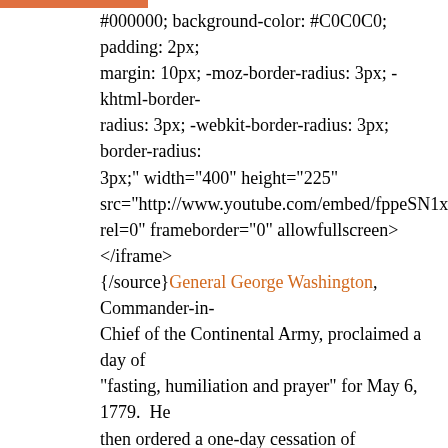#000000; background-color: #C0C0C0; padding: 2px; margin: 10px; -moz-border-radius: 3px; -khtml-border-radius: 3px; -webkit-border-radius: 3px; border-radius: 3px;" width="400" height="225" src="http://www.youtube.com/embed/fppeSN1xBn4?rel=0" frameborder="0" allowfullscreen></iframe> {/source}General George Washington, Commander-in-Chief of the Continental Army, proclaimed a day of “fasting, humiliation and prayer” for May 6, 1779. He then ordered a one-day cessation of recreation and “unningecessary labor” so that his soldiers could observe the day.
236 years later, his proclamation is being answered for America by Christians in Australia.
Lana Vawser, an Australian Christian, explains: “There is a fight for the destiny of the USA right now. The destiny of America hangs in the balance. The Lord is